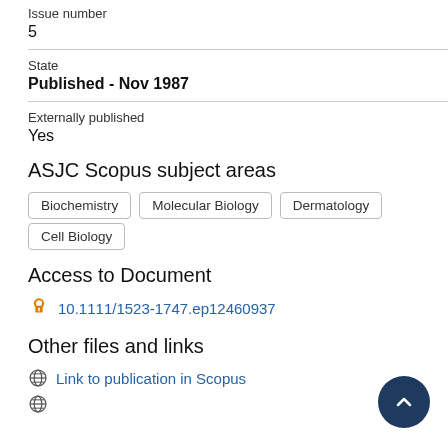Issue number
5
State
Published - Nov 1987
Externally published
Yes
ASJC Scopus subject areas
Biochemistry
Molecular Biology
Dermatology
Cell Biology
Access to Document
10.1111/1523-1747.ep12460937
Other files and links
Link to publication in Scopus